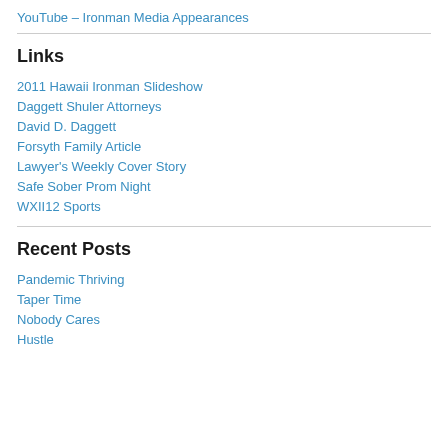YouTube – Ironman Media Appearances
Links
2011 Hawaii Ironman Slideshow
Daggett Shuler Attorneys
David D. Daggett
Forsyth Family Article
Lawyer's Weekly Cover Story
Safe Sober Prom Night
WXII12 Sports
Recent Posts
Pandemic Thriving
Taper Time
Nobody Cares
Hustle